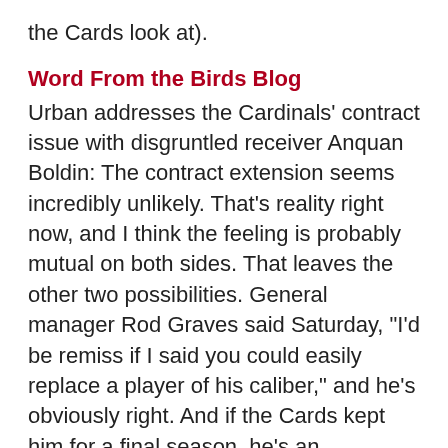the Cards look at).
Word From the Birds Blog
Urban addresses the Cardinals' contract issue with disgruntled receiver Anquan Boldin: The contract extension seems incredibly unlikely. That's reality right now, and I think the feeling is probably mutual on both sides. That leaves the other two possibilities. General manager Rod Graves said Saturday, "I'd be remiss if I said you could easily replace a player of his caliber," and he's obviously right. And if the Cards kept him for a final season, he's an affordable piece.
Word From the Birds Blog
Urban says that the Cardinals could move Levi Brown to left tackle: If Gandy doesn't come back — which my gut tells me won't happen — the plan for now is to slide